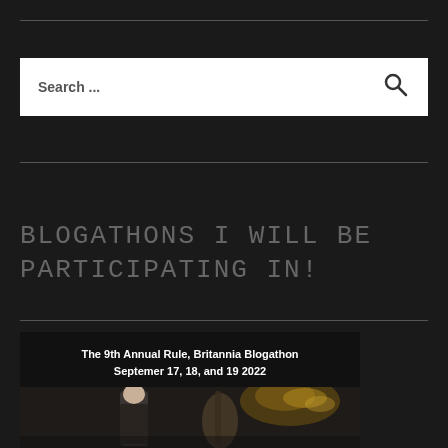[Figure (screenshot): Search bar with 'Search ...' placeholder text and a magnifying glass icon on white background]
BLOGATHONS I WILL BE PARTICIPATING IN!
[Figure (photo): Dark card showing 'The 9th Annual Rule, Britannia Blogathon September 17, 18, and 19 2022' with a man holding a cello instrument below]